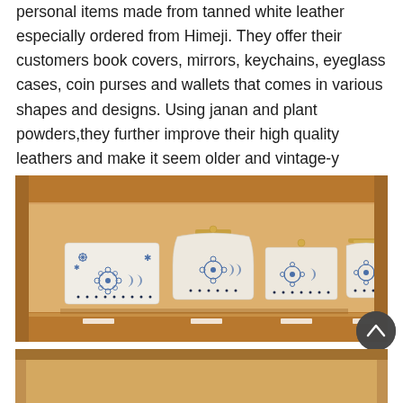personal items made from tanned white leather especially ordered from Himeji. They offer their customers book covers, mirrors, keychains, eyeglass cases, coin purses and wallets that comes in various shapes and designs. Using janan and plant powders,they further improve their high quality leathers and make it seem older and vintage-y through a secret process that only Bunkogawa artisans know.
[Figure (photo): Four white leather items with blue floral and geometric embroidered or stamped patterns displayed on a wooden shelf: a large rectangular wallet/clutch, a medium pouch, a card holder, and a small coin purse with a metal clasp.]
[Figure (photo): Partial view of another item or display below the main shelf photo, cut off at the bottom of the page.]